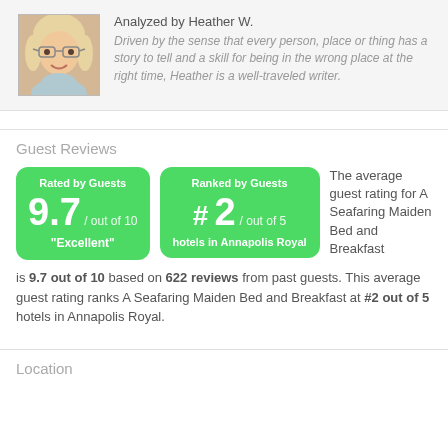[Figure (photo): Portrait photo of Heather W., a woman with blonde hair and glasses, smiling]
Analyzed by Heather W. Driven by the sense that every person, place or thing has a story to tell and a skill for being in the wrong place at the right time, Heather is a well-traveled writer.
Guest Reviews
[Figure (infographic): Green rounded box: Rated by Guests 9.7 / out of 10 Excellent]
[Figure (infographic): Green rounded box: Ranked by Guests # 2 / out of 5 hotels in Annapolis Royal]
The average guest rating for A Seafaring Maiden Bed and Breakfast is 9.7 out of 10 based on 622 reviews from past guests. This average guest rating ranks A Seafaring Maiden Bed and Breakfast at #2 out of 5 hotels in Annapolis Royal.
Location